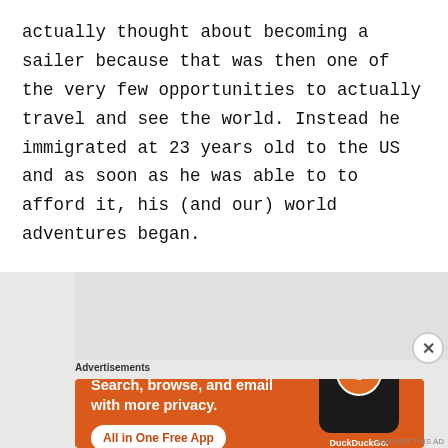actually thought about becoming a sailer because that was then one of the very few opportunities to actually travel and see the world. Instead he immigrated at 23 years old to the US and as soon as he was able to afford it, his (and our) world adventures began.
[Figure (other): DuckDuckGo advertisement banner with orange background showing 'Search, browse, and email with more privacy. All in One Free App' text and a phone mockup with DuckDuckGo logo]